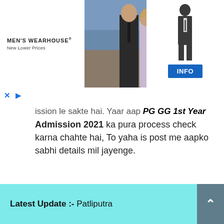[Figure (screenshot): Men's Wearhouse advertisement banner showing a couple in formal wear and a man's suit silhouette, with an INFO button]
ission le sakte hai. Yaar aap PG GG 1st Year Admission 2021 ka pura process check karna chahte hai, To yaha is post me aapko sabhi details mil jayenge.
Latest Update :- Patliputra